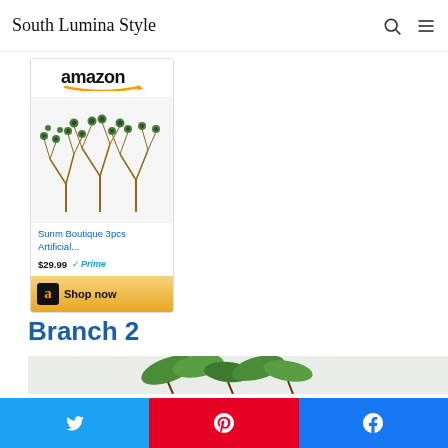South Lumina Style
[Figure (photo): Amazon product card showing Sunm Boutique 3pcs Artificial branches, priced at $29.99 with Prime badge, with Shop now button]
Branch 2
[Figure (photo): Partial view of green leafy branch product image strip at bottom]
[Figure (infographic): Three social share buttons: Twitter (blue), Pinterest (red), Facebook (blue)]